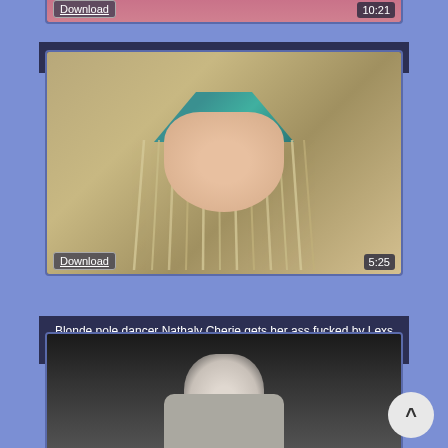[Figure (screenshot): Partial video thumbnail at top - pinkish/skin tones background with Download button and timestamp 10:21]
Beautiful big tits BBW loves fucking and a big old facial
[Figure (screenshot): Video thumbnail showing blonde pole dancer from behind wearing teal and fringe skirt. Download button and 5:25 timestamp overlay.]
Blonde pole dancer Nathaly Cherie gets her ass fucked by Lexs monster cock
[Figure (screenshot): Partial video thumbnail at bottom - dark background with person in white top]